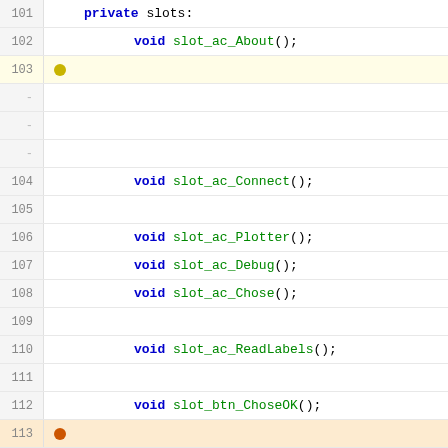101    private slots:
102        void slot_ac_About();
103  (yellow dot - empty line with marker)
-
-
-
104        void slot_ac_Connect();
105  (empty)
106        void slot_ac_Plotter();
107        void slot_ac_Debug();
108        void slot_ac_Chose();
109  (empty)
110        void slot_ac_ReadLabels();
111  (empty)
112        void slot_btn_ChoseOK();
113  (orange dot - empty line with marker)
114  (orange dot)  void slot_rb_Hardware();
115  (empty)
116        void slot_Plotter_Start();